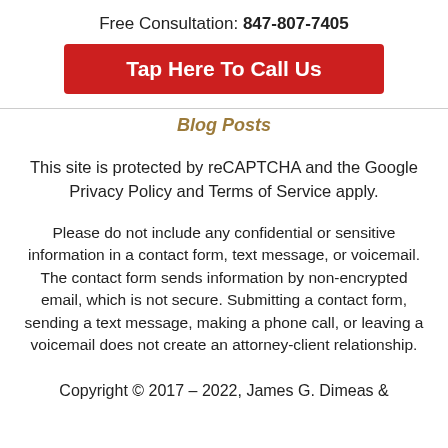Free Consultation: 847-807-7405
Tap Here To Call Us
Blog Posts
This site is protected by reCAPTCHA and the Google Privacy Policy and Terms of Service apply.
Please do not include any confidential or sensitive information in a contact form, text message, or voicemail. The contact form sends information by non-encrypted email, which is not secure. Submitting a contact form, sending a text message, making a phone call, or leaving a voicemail does not create an attorney-client relationship.
Copyright © 2017 – 2022, James G. Dimeas &